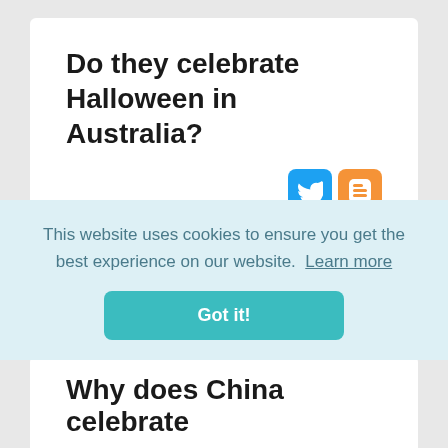Do they celebrate Halloween in Australia?
[Figure (logo): Twitter and Blogger social sharing icons]
Many Australians celebrate Halloween, which occurs annually on October 31. It is also known as All Hallows' Eve and is the day before All Saints' Day. Costume parties are held and many children go trick-or-treating
This website uses cookies to ensure you get the best experience on our website. Learn more
Got it!
Why does China celebrate